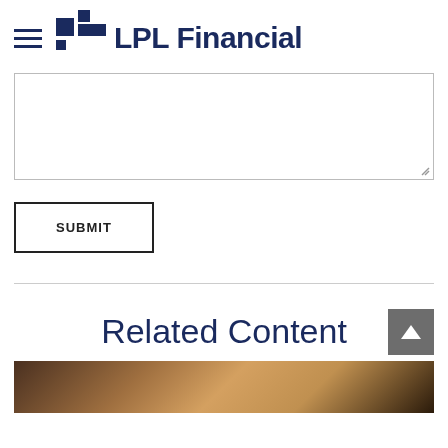LPL Financial
[Figure (screenshot): Empty textarea input box with resize handle in bottom right corner]
SUBMIT
Related Content
[Figure (photo): Partial photo visible at bottom of page, warm brown tones suggesting an outdoor or portrait image]